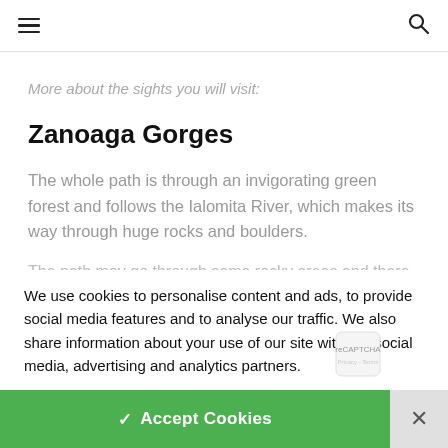≡ [hamburger menu] [search icon]
More about the sights you will visit:
Zanoaga Gorges
The whole path is through an invigorating green forest and follows the Ialomita River, which makes its way through huge rocks and boulders.
We use cookies to personalise content and ads, to provide social media features and to analyse our traffic. We also share information about your use of our site with our social media, advertising and analytics partners.
✓ Accept Cookies